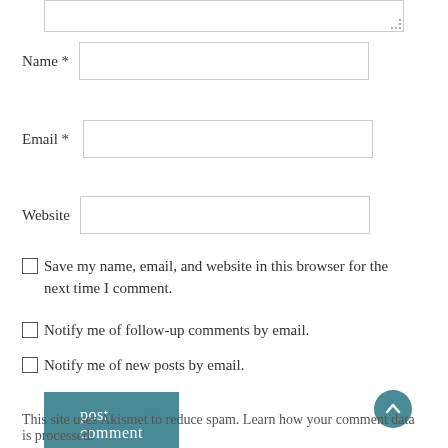[textarea top edge visible]
Name *
Email *
Website
Save my name, email, and website in this browser for the next time I comment.
Notify me of follow-up comments by email.
Notify me of new posts by email.
post comment
This site uses Akismet to reduce spam. Learn how your comment data is processed.